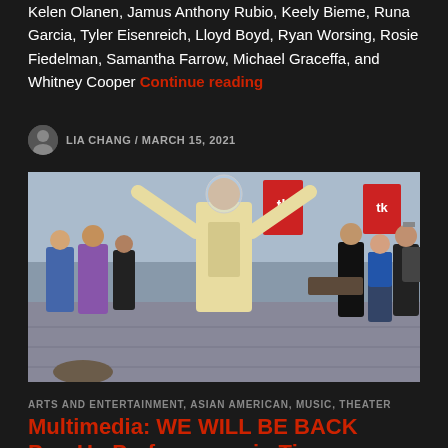Kelen Olanen, Jamus Anthony Rubio, Keely Bieme, Runa Garcia, Tyler Eisenreich, Lloyd Boyd, Ryan Worsing, Rosie Fiedelman, Samantha Farrow, Michael Graceffa, and Whitney Cooper Continue reading
LIA CHANG / MARCH 15, 2021
[Figure (photo): A performer in a cream/yellow suit with arms raised wide, standing in Times Square plaza area. Other people visible in background. Outdoor daytime scene.]
ARTS AND ENTERTAINMENT, ASIAN AMERICAN, MUSIC, THEATER
Multimedia: WE WILL BE BACK Pop-Up Performance in Times